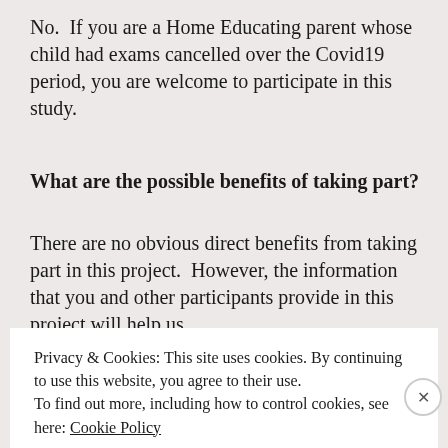No.  If you are a Home Educating parent whose child had exams cancelled over the Covid19 period, you are welcome to participate in this study.
What are the possible benefits of taking part?
There are no obvious direct benefits from taking part in this project.  However, the information that you and other participants provide in this project will help us
Privacy & Cookies: This site uses cookies. By continuing to use this website, you agree to their use.
To find out more, including how to control cookies, see here: Cookie Policy
Close and accept